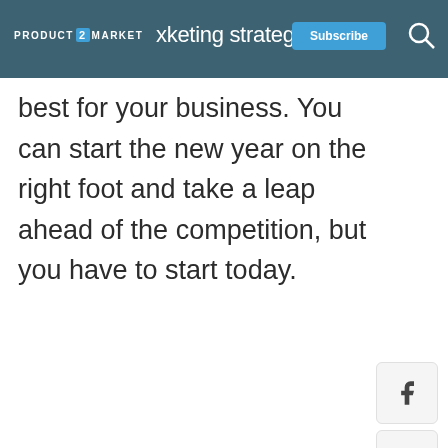PRODUCT 2 MARKET — marketing strategy — Subscribe
best for your business. You can start the new year on the right foot and take a leap ahead of the competition, but you have to start today.
[Figure (other): Facebook share icon button]
[Figure (other): LinkedIn share icon button]
[Figure (other): Twitter share icon button]